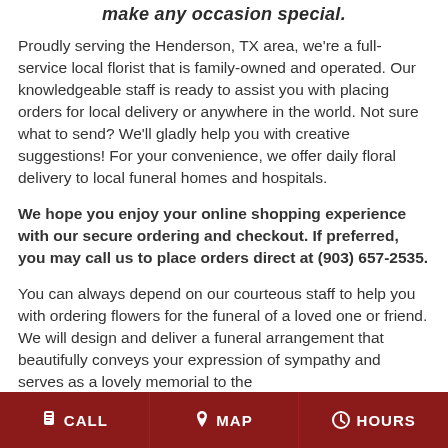make any occasion special.
Proudly serving the Henderson, TX area, we're a full-service local florist that is family-owned and operated. Our knowledgeable staff is ready to assist you with placing orders for local delivery or anywhere in the world. Not sure what to send? We'll gladly help you with creative suggestions! For your convenience, we offer daily floral delivery to local funeral homes and hospitals.
We hope you enjoy your online shopping experience with our secure ordering and checkout. If preferred, you may call us to place orders direct at (903) 657-2535.
You can always depend on our courteous staff to help you with ordering flowers for the funeral of a loved one or friend. We will design and deliver a funeral arrangement that beautifully conveys your expression of sympathy and serves as a lovely memorial to the [deceased].
CALL   MAP   HOURS